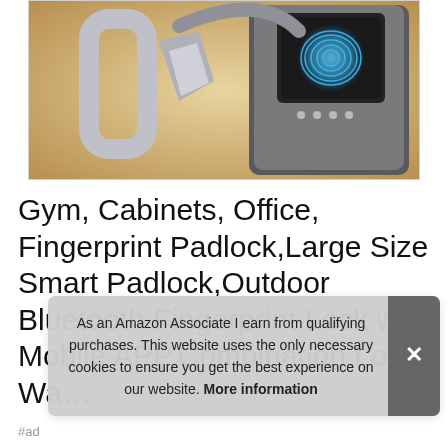[Figure (photo): Product photo showing a fingerprint padlock device (smart padlock with fingerprint scanner, Bluetooth, combination lock), displayed with metallic bracket parts on a warm beige/tan background. The lock device is dark grey/black with a fingerprint scanner glow in blue.]
Gym, Cabinets, Office, Fingerprint Padlock,Large Size Smart Padlock,Outdoor Bluetooth Fingerprint Lock with Mobile APP,Combination Lo… Wa…
As an Amazon Associate I earn from qualifying purchases. This website uses the only necessary cookies to ensure you get the best experience on our website. More information
#ad